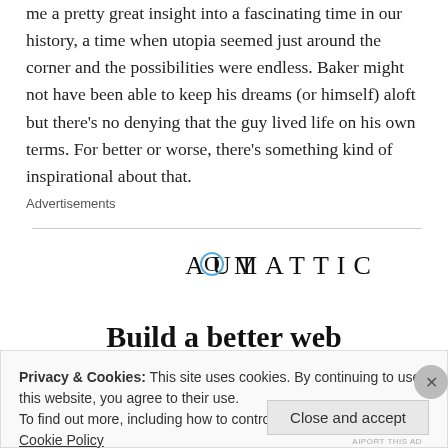me a pretty great insight into a fascinating time in our history, a time when utopia seemed just around the corner and the possibilities were endless. Baker might not have been able to keep his dreams (or himself) aloft but there’s no denying that the guy lived life on his own terms. For better or worse, there's something kind of inspirational about that.
Advertisements
[Figure (logo): Automattic logo — company name in spaced serif-style caps with a circular blue 'O']
Build a better web
Privacy & Cookies: This site uses cookies. By continuing to use this website, you agree to their use.
To find out more, including how to control cookies, see here: Cookie Policy
Close and accept